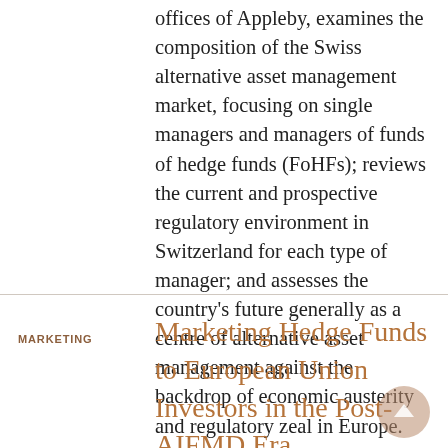offices of Appleby, examines the composition of the Swiss alternative asset management market, focusing on single managers and managers of funds of hedge funds (FoHFs); reviews the current and prospective regulatory environment in Switzerland for each type of manager; and assesses the country's future generally as a centre of alternative asset management against the backdrop of economic austerity and regulatory zeal in Europe.
MARKETING
Marketing Hedge Funds to European Union Investors in the Post-AIFMD Era